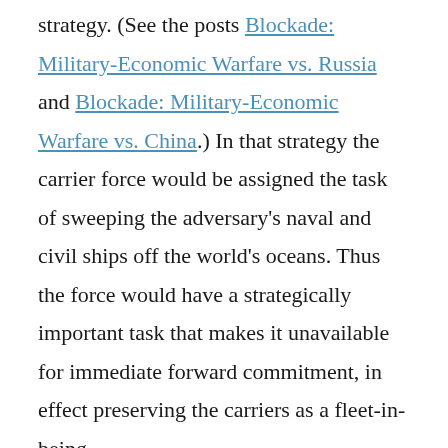strategy. (See the posts Blockade: Military-Economic Warfare vs. Russia and Blockade: Military-Economic Warfare vs. China.) In that strategy the carrier force would be assigned the task of sweeping the adversary's naval and civil ships off the world's oceans. Thus the force would have a strategically important task that makes it unavailable for immediate forward commitment, in effect preserving the carriers as a fleet-in-being.
Finally, fleet-in-being is a strategy that has